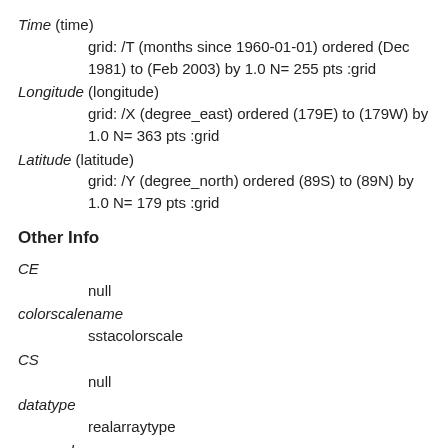Time (time)
    grid: /T (months since 1960-01-01) ordered (Dec 1981) to (Feb 2003) by 1.0 N= 255 pts :grid
Longitude (longitude)
    grid: /X (degree_east) ordered (179E) to (179W) by 1.0 N= 363 pts :grid
Latitude (latitude)
    grid: /Y (degree_north) ordered (89S) to (89N) by 1.0 N= 179 pts :grid
Other Info
CE
    null
colorscalename
    sstacolorscale
CS
    null
datatype
    realarraytype
maxncolor
    254
PLOTCOAST